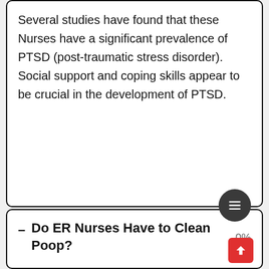Several studies have found that these Nurses have a significant prevalence of PTSD (post-traumatic stress disorder).

Social support and coping skills appear to be crucial in the development of PTSD.
Do ER Nurses Have to Clean Poop?
Emergency Nurses, in general, deal with life-